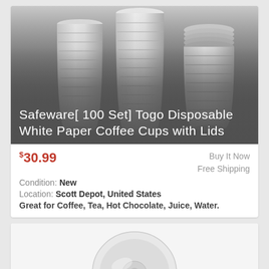[Figure (photo): Stack of white disposable paper coffee cups with lids, product photo with dark gradient overlay and white text title overlay]
Safeware[ 100 Set] Togo Disposable White Paper Coffee Cups with Lids
$30.99  Buy It Now  Free Shipping
Condition: New
Location: Scott Depot, United States
Great for Coffee, Tea, Hot Chocolate, Juice, Water.
[Figure (photo): White disposable coffee cup lid viewed from above, with a red straw to the left side, product photo on white background]